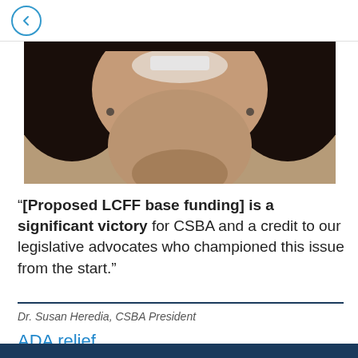← back navigation
[Figure (photo): Close-up photo of a smiling woman with dark hair and earrings, cropped to show lower face and neck]
"[Proposed LCFF base funding] is a significant victory for CSBA and a credit to our legislative advocates who championed this issue from the start."
Dr. Susan Heredia, CSBA President
ADA relief
There is no need for further negotiations where COVID ADA